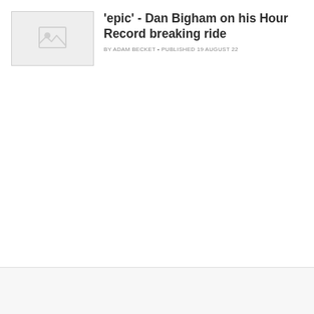[Figure (photo): Thumbnail image placeholder with image icon]
'epic' - Dan Bigham on his Hour Record breaking ride
BY ADAM BECKET • PUBLISHED 19 AUGUST 22